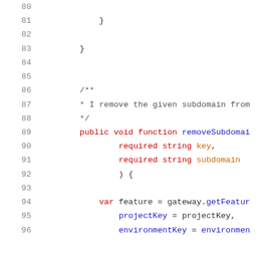Code listing lines 80-96, showing removeSubdomain function definition in a programming language with syntax highlighting.